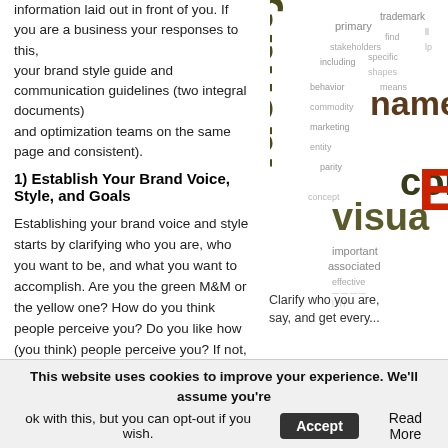information laid out in front of you. If you are a business your responses to this, your brand style guide and communication guidelines (two integral documents) and optimization teams on the same page and consistent).
1) Establish Your Brand Voice, Style, and Goals
Establishing your brand voice and style starts by clarifying who you are, who you want to be, and what you want to accomplish. Are you the green M&M or the yellow one? How do you think people perceive you? Do you like how (you think) people perceive you? If not, brainstorm small ways you might be able to represent your true self more accurately.
With a firm grip on who you are, and who you want to be, consider writing a brand or department mission statement.
Helpful link: Building a Brand With Your Online Voice
[Figure (infographic): Word cloud with branding-related terms including identity, name, visual, consumer, trademark, primary, stakeholders, commodity, marketing, entity, parity, shapes, means, concept, important, associated, specific, including, behavior, find, effective — with identity and visual in large dark text and a red letter E prominent]
Clarify who you are, what you say, and get every...